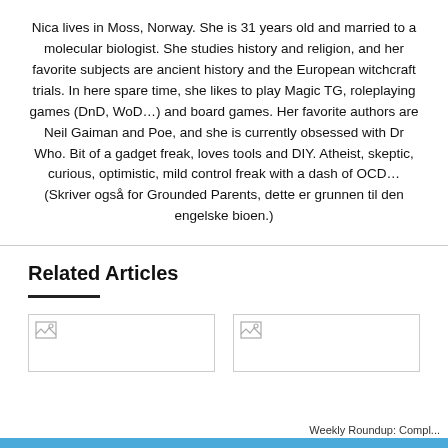Nica lives in Moss, Norway. She is 31 years old and married to a molecular biologist. She studies history and religion, and her favorite subjects are ancient history and the European witchcraft trials. In here spare time, she likes to play Magic TG, roleplaying games (DnD, WoD…) and board games. Her favorite authors are Neil Gaiman and Poe, and she is currently obsessed with Dr Who. Bit of a gadget freak, loves tools and DIY. Atheist, skeptic, curious, optimistic, mild control freak with a dash of OCD… (Skriver også for Grounded Parents, dette er grunnen til den engelske bioen.)
Related Articles
[Figure (photo): Broken image placeholder thumbnail on left]
[Figure (photo): Broken image placeholder thumbnail on right]
Weekly Roundup: Compl...